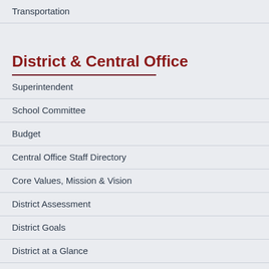Transportation
District & Central Office
Superintendent
School Committee
Budget
Central Office Staff Directory
Core Values, Mission & Vision
District Assessment
District Goals
District at a Glance
Diversity, Equity & Inclusion
Facilities Master Plan